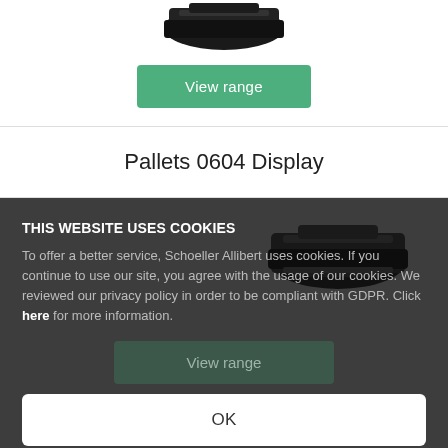[Figure (photo): Product image of a dark-colored pallet/crate, partially visible at top of page]
View range
Pallets 0604 Display
[Figure (photo): Dark-colored stacking pallet product image on dark background]
THIS WEBSITE USES COOKIES
To offer a better service, Schoeller Allibert uses cookies. If you continue to use our site, you agree with the usage of our cookies. We reviewed our privacy policy in order to be compliant with GDPR. Click here for more information.
View range
OK
Stack Nest Bakery Crates stack nest